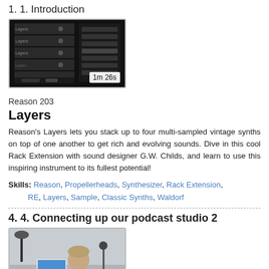1. 1. Introduction
[Figure (screenshot): Video thumbnail showing rack synthesizer equipment with black background, duration label '1m 26s']
Reason 203
Layers
Reason's Layers lets you stack up to four multi-sampled vintage synths on top of one another to get rich and evolving sounds. Dive in this cool Rack Extension with sound designer G.W. Childs, and learn to use this inspiring instrument to its fullest potential!
Skills: Reason, Propellerheads, Synthesizer, Rack Extension, RE, Layers, Sample, Classic Synths, Waldorf
4. 4. Connecting up our podcast studio 2
[Figure (photo): Video thumbnail showing a man sitting at a desk in a podcast studio, duration label '2m 22s']
Podcasting 101